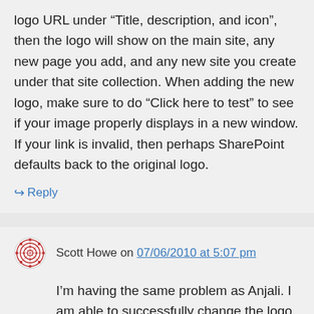logo URL under “Title, description, and icon”, then the logo will show on the main site, any new page you add, and any new site you create under that site collection. When adding the new logo, make sure to do “Click here to test” to see if your image properly displays in a new window. If your link is invalid, then perhaps SharePoint defaults back to the original logo.
↪ Reply
Scott Howe on 07/06/2010 at 5:07 pm
I’m having the same problem as Anjali. I am able to successfully change the logo as